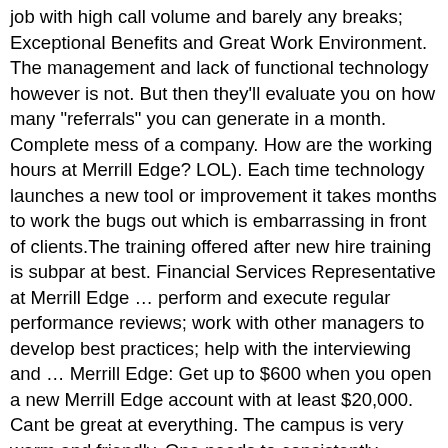job with high call volume and barely any breaks; Exceptional Benefits and Great Work Environment. The management and lack of functional technology however is not. But then they'll evaluate you on how many "referrals" you can generate in a month. Complete mess of a company. How are the working hours at Merrill Edge? LOL). Each time technology launches a new tool or improvement it takes months to work the bugs out which is embarrassing in front of clients.The training offered after new hire training is subpar at best. Financial Services Representative at Merrill Edge ... perform and execute regular performance reviews; work with other managers to develop best practices; help with the interviewing and ... Merrill Edge: Get up to $600 when you open a new Merrill Edge account with at least $20,000. Cant be great at everything. The campus is very warm and friendly. One needs to consistently EXCEED goal to stay off managements radar for many emails and phone calls about what's going on with your performance. they will allow you to get your licenses and grow from there to another aspect of the industry. Career path, managers genuinely care, great